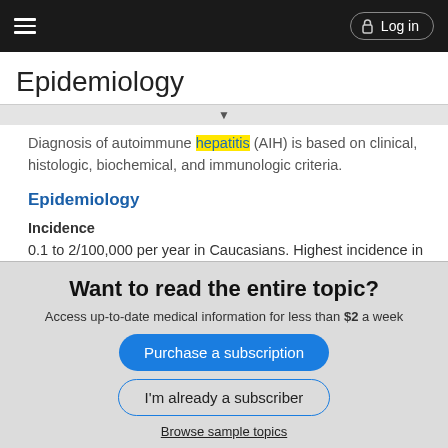Epidemiology — Log in
Epidemiology
Diagnosis of autoimmune hepatitis (AIH) is based on clinical, histologic, biochemical, and immunologic criteria.
Epidemiology
Incidence
0.1 to 2/100,000 per year in Caucasians. Highest incidence in Northern Europeans; lower in Japanese
Prevalence
Want to read the entire topic?
Access up-to-date medical information for less than $2 a week
Purchase a subscription
I'm already a subscriber
Browse sample topics